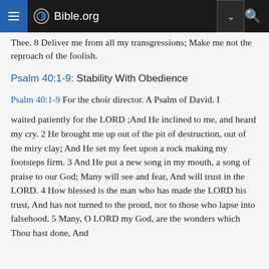Bible.org
Thee. 8 Deliver me from all my transgressions; Make me not the reproach of the foolish.
Psalm 40:1-9: Stability With Obedience
Psalm 40:1-9 For the choir director. A Psalm of David. I waited patiently for the LORD ;And He inclined to me, and heard my cry. 2 He brought me up out of the pit of destruction, out of the miry clay; And He set my feet upon a rock making my footsteps firm. 3 And He put a new song in my mouth, a song of praise to our God; Many will see and fear, And will trust in the LORD. 4 How blessed is the man who has made the LORD his trust, And has not turned to the proud, nor to those who lapse into falsehood. 5 Many, O LORD my God, are the wonders which Thou hast done, And